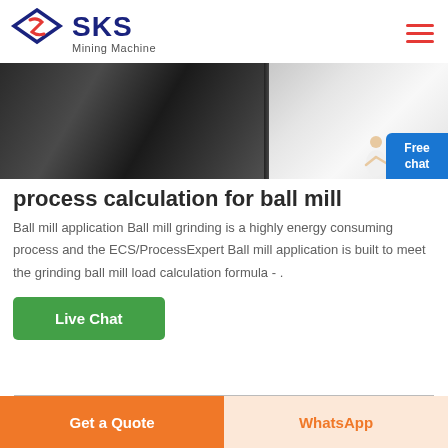SKS Mining Machine
[Figure (photo): Hero image showing a ball mill machine on the left (dark metallic) and white powder/material on the right]
process calculation for ball mill
Ball mill application Ball mill grinding is a highly energy consuming process and the ECS/ProcessExpert Ball mill application is built to meet the grinding ball mill load calculation formula - .
Live Chat
Get a Quote | WhatsApp